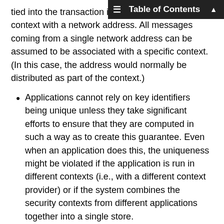tied into the transaction iden... to associate a context with a network address. All messages coming from a single network address can be assumed to be associated with a specific context. (In this case, the address would normally be distributed as part of the context.)
Applications cannot rely on key identifiers being unique unless they take significant efforts to ensure that they are computed in such a way as to create this guarantee. Even when an application does this, the uniqueness might be violated if the application is run in different contexts (i.e., with a different context provider) or if the system combines the security contexts from different applications together into a single store.
Applications should continue the practice of protecting the algorithm identifier. Since this is not done by placing it in the protected attributes field, applications should define an application-specific external data structure that includes this value. This external data field can be used as such for content encryption, MAC, and signature